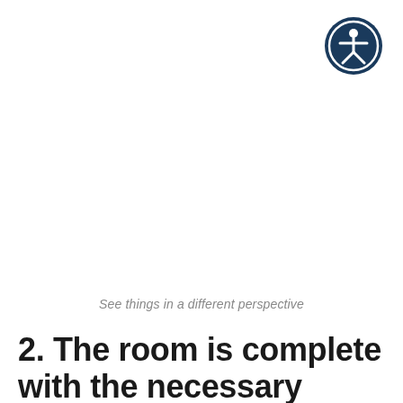[Figure (logo): Accessibility icon: white figure with arms and legs outstretched inside a dark navy blue circle with a white ring border]
See things in a different perspective
2. The room is complete with the necessary amenities